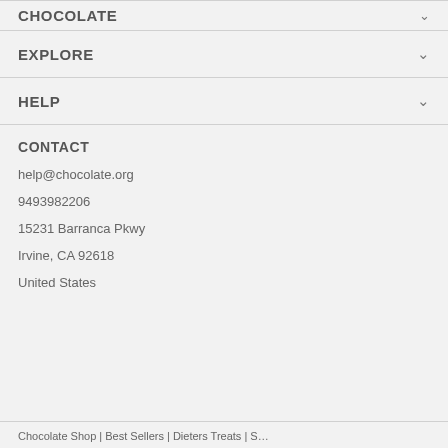EXPLORE
HELP
CONTACT
help@chocolate.org
9493982206
15231 Barranca Pkwy
Irvine, CA 92618
United States
Chocolate Shop | Best Sellers | Dieters Treats | S…